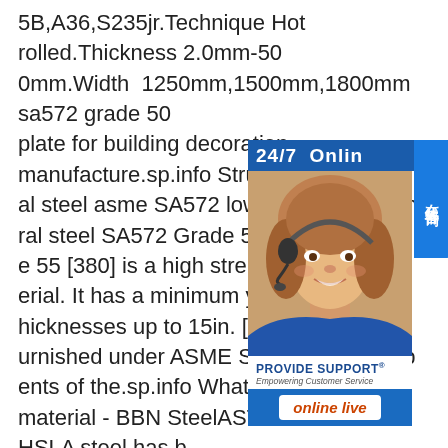5B,A36,S235jr.Technique Hot rolled.Thickness 2.0mm-500mm.Width 1250mm,1500mm,1800mm sa572 grade 50 plate for building decoration manufacture.sp.info Structural steel asme SA572 low alloy steel - asme structural steel SA572 Grade 55 equivalent. AS e 55 [380] is a high strength low alloy str erial. It has a minimum yield point of 380 hicknesses up to 15in. [380 mm]. Struct urnished under ASME SA572 shall comp ents of the.sp.info What is ASTM A572 material - BBN SteelASTM A572 Gr 50 HSLA steel has been widely used in the manufacture of engineering machinery, ships, bridges, high-rise buildings, boilers and pressure vessels, electric power and various vehicles. There are a lot equivalent standards and
[Figure (other): 24/7 Online customer support widget with a photo of a woman wearing a headset, 'PROVIDE SUPPORT® Empowering Customer Service' branding, and an 'online live' button. A vertical blue tab on the right reads '在线咨询' (Online Consultation).]